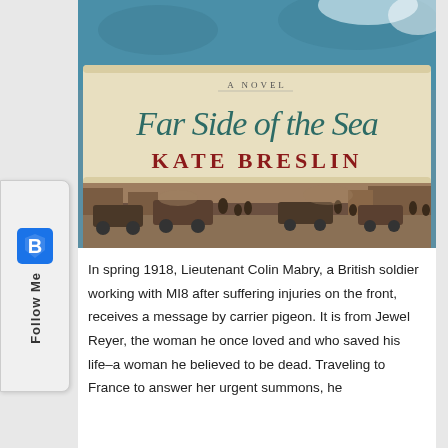[Figure (photo): Book cover of 'Far Side of the Sea' by Kate Breslin, showing a teal/blue fabric background at top, a parchment banner with cursive title text 'Far Side of the Sea' and subtitle 'A Novel', author name 'KATE BRESLIN' in red serif font, and a sepia-toned historical street scene with early automobiles and crowds below.]
In spring 1918, Lieutenant Colin Mabry, a British soldier working with MI8 after suffering injuries on the front, receives a message by carrier pigeon. It is from Jewel Reyer, the woman he once loved and who saved his life–a woman he believed to be dead. Traveling to France to answer her urgent summons, he